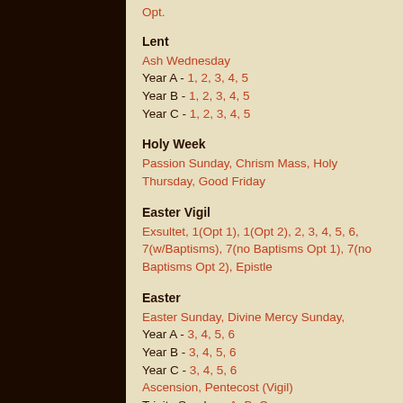Opt.
Lent
Ash Wednesday
Year A - 1, 2, 3, 4, 5
Year B - 1, 2, 3, 4, 5
Year C - 1, 2, 3, 4, 5
Holy Week
Passion Sunday, Chrism Mass, Holy Thursday, Good Friday
Easter Vigil
Exsultet, 1(Opt 1), 1(Opt 2), 2, 3, 4, 5, 6, 7(w/Baptisms), 7(no Baptisms Opt 1), 7(no Baptisms Opt 2), Epistle
Easter
Easter Sunday, Divine Mercy Sunday,
Year A - 3, 4, 5, 6
Year B - 3, 4, 5, 6
Year C - 3, 4, 5, 6
Ascension, Pentecost (Vigil)
Trinity Sunday - A, B, C
Corpus Christi - A, B, C
Ordinary Time - Year A
2, 3, 4, 5, 6, 7, 8, 9, 10, 11, 12, 13, 14, 15, 16, 17, 18, 19, 20, 21, 22, 23, 24, 25, 26, 27, 28, 29, 30, 31, 32, 33, Christ the King